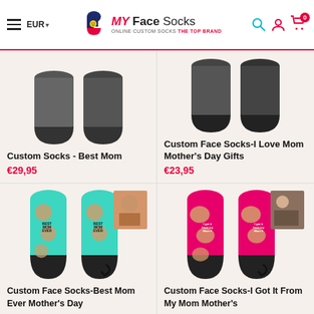MY Face Socks - ONLINE CUSTOM SOCKS THE TOP BRAND | EUR
[Figure (screenshot): MY Face Socks website header with hamburger menu, EUR currency selector, logo with smiley sock icon, search, account, and cart icons]
Custom Socks - Best Mom
€29,95
Custom Face Socks-I Love Mom Mother's Day Gifts
€23,95
[Figure (photo): Mint/turquoise custom face socks with child's face printed on them, 'Best Mom Ever' text, with a photo of a toddler boy inset]
Custom Face Socks-Best Mom Ever Mother's Day
[Figure (photo): Hot pink custom face socks with printed face and 'I Got It From My Mom' text, with inset photo of child and adult]
Custom Face Socks-I Got It From My Mom Mother's